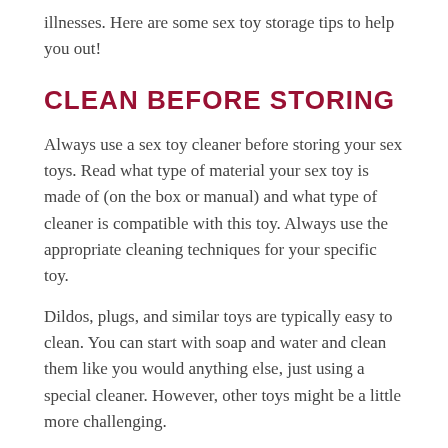illnesses. Here are some sex toy storage tips to help you out!
CLEAN BEFORE STORING
Always use a sex toy cleaner before storing your sex toys. Read what type of material your sex toy is made of (on the box or manual) and what type of cleaner is compatible with this toy. Always use the appropriate cleaning techniques for your specific toy.
Dildos, plugs, and similar toys are typically easy to clean. You can start with soap and water and clean them like you would anything else, just using a special cleaner. However, other toys might be a little more challenging.